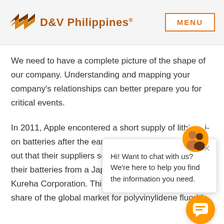D&V Philippines®  MENU
We need to have a complete picture of the shape of our company. Understanding and mapping your company's relationships can better prepare you for critical events.
In 2011, Apple encountered a short supply of lithium-ion batteries after the earthquake in Japan. It turned out that their suppliers source a vital component of their batteries from a Japanese company called Kureha Corporation. This company has a 70 percent share of the global market for polyvinylidene fluoride
[Figure (other): Live chat popup widget with avatar photo of team members on orange background and message: Hi! Want to chat with us? We're here to help you find the information you need. Also an orange circular chat bubble button in the bottom right.]